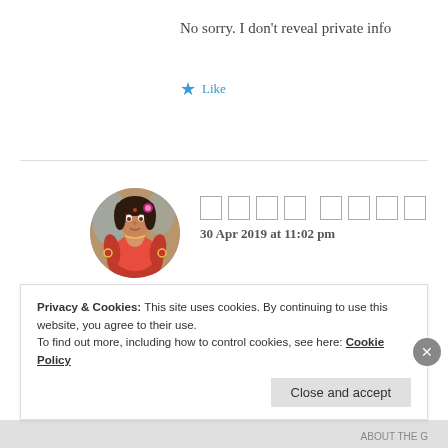No sorry. I don’t reveal private info
★ Like
[Figure (photo): Circular avatar image of a woman in traditional Indian attire (red/orange saree with jewelry), posed against a decorative background.]
[commenter name in non-Latin script] — 30 Apr 2019 at 11:02 pm
its ok... no problem..
but i dont have so i cant tell..
Privacy & Cookies: This site uses cookies. By continuing to use this website, you agree to their use.
To find out more, including how to control cookies, see here: Cookie Policy
Close and accept